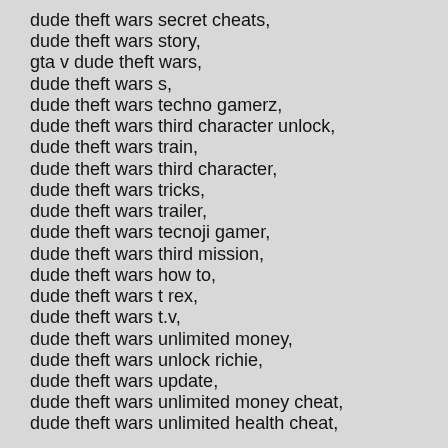dude theft wars secret cheats,
dude theft wars story,
gta v dude theft wars,
dude theft wars s,
dude theft wars techno gamerz,
dude theft wars third character unlock,
dude theft wars train,
dude theft wars third character,
dude theft wars tricks,
dude theft wars trailer,
dude theft wars tecnoji gamer,
dude theft wars third mission,
dude theft wars how to,
dude theft wars t rex,
dude theft wars t.v,
dude theft wars unlimited money,
dude theft wars unlock richie,
dude theft wars update,
dude theft wars unlimited money cheat,
dude theft wars unlimited health cheat,